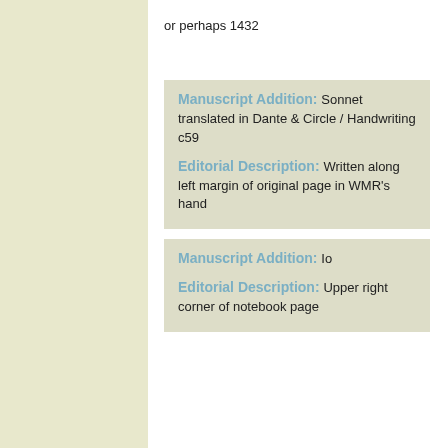or perhaps 1432
Manuscript Addition: Sonnet translated in Dante & Circle / Handwriting c59
Editorial Description: Written along left margin of original page in WMR's hand
Manuscript Addition: Io
Editorial Description: Upper right corner of notebook page